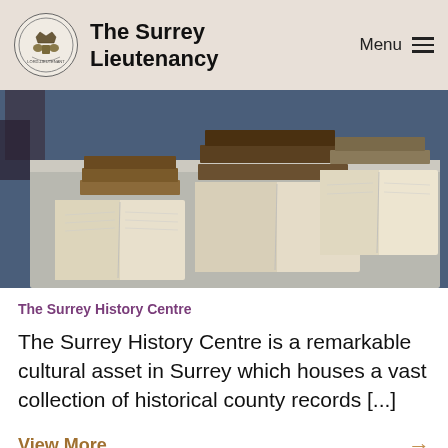The Surrey Lieutenancy
[Figure (photo): Old historical books and registers open and stacked on a grey table with blue carpet visible in the background.]
The Surrey History Centre
The Surrey History Centre is a remarkable cultural asset in Surrey which houses a vast collection of historical county records [...]
View More →